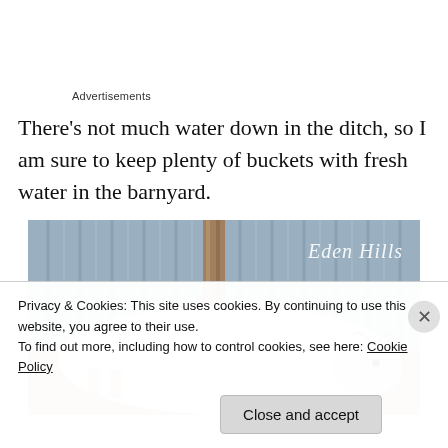Advertisements
There's not much water down in the ditch, so I am sure to keep plenty of buckets with fresh water in the barnyard.
[Figure (photo): A white goat lying down in a barnyard with a corrugated metal fence in the background. Watermark 'Eden Hills' visible in the upper right corner of the photo.]
Privacy & Cookies: This site uses cookies. By continuing to use this website, you agree to their use.
To find out more, including how to control cookies, see here: Cookie Policy
Close and accept